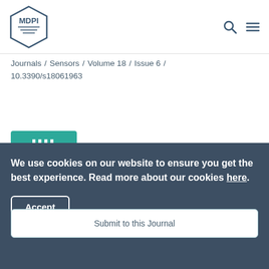MDPI
Journals / Sensors / Volume 18 / Issue 6 / 10.3390/s18061963
[Figure (logo): Sensors journal logo — teal chip icon with the italic text 'sensors']
Submit to this Journal
Review for this Journal
Edit a Special Issue
We use cookies on our website to ensure you get the best experience. Read more about our cookies here.
Accept